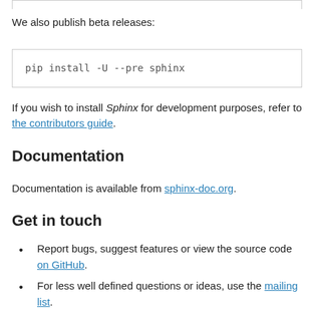We also publish beta releases:
pip install -U --pre sphinx
If you wish to install Sphinx for development purposes, refer to the contributors guide.
Documentation
Documentation is available from sphinx-doc.org.
Get in touch
Report bugs, suggest features or view the source code on GitHub.
For less well defined questions or ideas, use the mailing list.